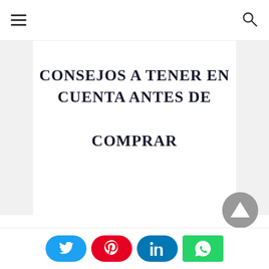Navigation bar with hamburger menu and search icon
CONSEJOS A TENER EN CUENTA ANTES DE COMPRAR
[Figure (other): Scroll-to-top button, gray circle with upward triangle arrow]
Social share buttons: Twitter, Pinterest, LinkedIn, WhatsApp